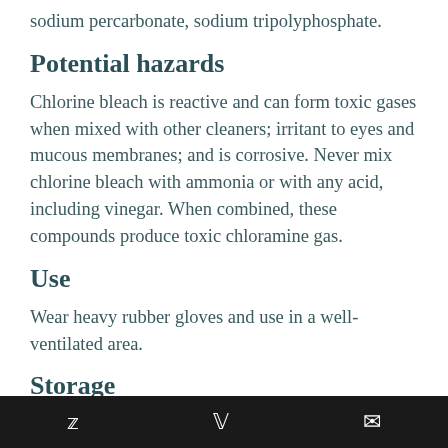sodium percarbonate, sodium tripolyphosphate.
Potential hazards
Chlorine bleach is reactive and can form toxic gases when mixed with other cleaners; irritant to eyes and mucous membranes; and is corrosive. Never mix chlorine bleach with ammonia or with any acid, including vinegar. When combined, these compounds produce toxic chloramine gas.
Use
Wear heavy rubber gloves and use in a well-ventilated area.
Storage
Keep the container lid tightly closed when not in use
Twitter Facebook Email